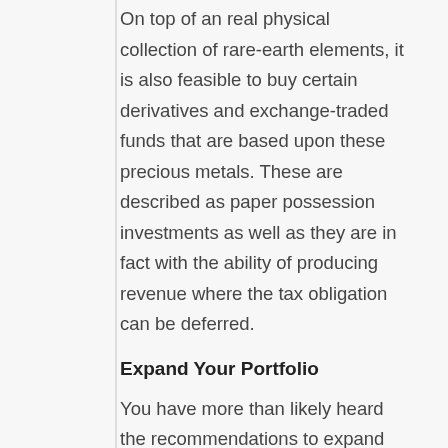On top of an real physical collection of rare-earth elements, it is also feasible to buy certain derivatives and exchange-traded funds that are based upon these precious metals. These are described as paper possession investments as well as they are in fact with the ability of producing revenue where the tax obligation can be deferred.
Expand Your Portfolio
You have more than likely heard the recommendations to expand your profile enough to make you intend to pull your hair out. There is a reason many people howl this at you during basic economic education. It is because it really is